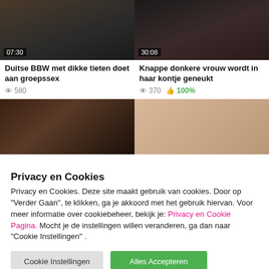[Figure (screenshot): Video thumbnail left top, dark tones, badge '07:30']
[Figure (screenshot): Video thumbnail right top, dark tones, badge '30:08']
Duitse BBW met dikke tieten doet aan groepssex
Knappe donkere vrouw wordt in haar kontje geneukt
👁 580
👁 370  👍 100%
[Figure (screenshot): Video thumbnail bottom left, dark brown tones]
[Figure (screenshot): Video thumbnail bottom right, light beige/pink tones]
Privacy en Cookies
Privacy en Cookies. Deze site maakt gebruik van cookies. Door op "Verder Gaan", te klikken, ga je akkoord met het gebruik hiervan. Voor meer informatie over cookiebeheer, bekijk je: Privacy en Cookie Pagina. Mocht je de instellingen willen veranderen, ga dan naar "Cookie Instellingen" .
Cookie Instellingen
Alles Accepteren